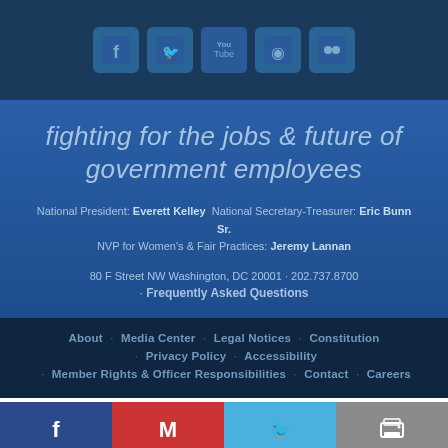[Figure (other): Social media icons row: Facebook, Twitter, YouTube, RSS, Flickr]
fighting for the jobs & future of government employees
National President: Everett Kelley  National Secretary-Treasurer: Eric Bunn Sr.  NVP for Women's & Fair Practices: Jeremy Lannan
80 F Street NW Washington, DC 20001 · 202.737.8700
· Frequently Asked Questions
About · Media Center · Legal Notices · Constitution · Privacy Policy · Accessibility · Member Rights & Officer Responsibilities · Contact · Careers
[Figure (other): Share buttons row: Facebook, Gmail/Email, Twitter, Print]